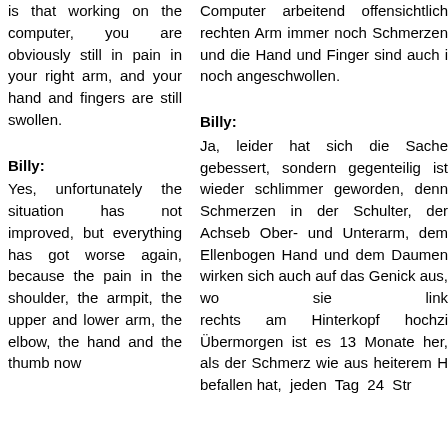is that working on the computer, you are obviously still in pain in your right arm, and your hand and fingers are still swollen.
Computer arbeitend offensichtlich rechten Arm immer noch Schmerzen und die Hand und Finger sind auch i noch angeschwollen.
Billy:
Billy:
Yes, unfortunately the situation has not improved, but everything has got worse again, because the pain in the shoulder, the armpit, the upper and lower arm, the elbow, the hand and the thumb now
Ja, leider hat sich die Sache gebessert, sondern gegenteilig ist wieder schlimmer geworden, denn Schmerzen in der Schulter, der Achseb Ober- und Unterarm, dem Ellenbogen Hand und dem Daumen wirken sich auch auf das Genick aus, wo sie link rechts am Hinterkopf hochzi Übermorgen ist es 13 Monate her, als der Schmerz wie aus heiterem H befallen hat, jeden Tag 24 Str